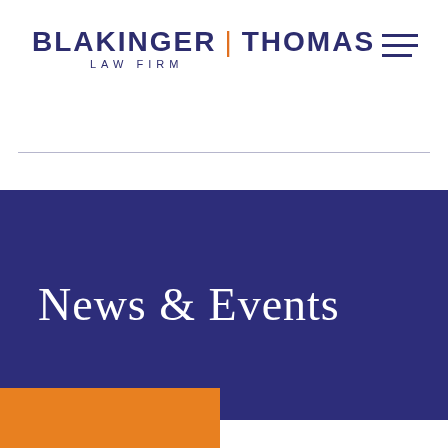[Figure (logo): Blakinger Thomas Law Firm logo with navy blue text and orange pipe separator]
News & Events
[Figure (other): Orange rectangular block at bottom left]